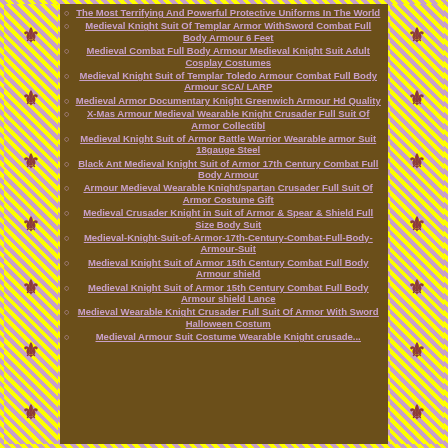The Most Terrifying And Powerful Protective Uniforms In The World
Medieval Knight Suit Of Templar Armor WithSword Combat Full Body Armour 6 Feet
Medieval Combat Full Body Armour Medieval Knight Suit Adult Cosplay Costumes
Medieval Knight Suit of Templar Toledo Armour Combat Full Body Armour SCA/ LARP
Medieval Armor Documentary Knight Greenwich Armour Hd Quality
X-Mas Armour Medieval Wearable Knight Crusader Full Suit Of Armor Collectibl
Medieval Knight Suit of Armor Battle Warrior Wearable armor Suit 18gauge Steel
Black Ant Medieval Knight Suit of Armor 17th Century Combat Full Body Armour
Armour Medieval Wearable Knight/spartan Crusader Full Suit Of Armor Costume Gift
Medieval Crusader Knight in Suit of Armor & Spear & Shield Full Size Body Suit
Medieval-Knight-Suit-of-Armor-17th-Century-Combat-Full-Body-Armour-Suit
Medieval Knight Suit of Armor 15th Century Combat Full Body Armour shield
Medieval Knight Suit of Armor 15th Century Combat Full Body Armour shield Lance
Medieval Wearable Knight Crusader Full Suit Of Armor With Sword Halloween Costum
Medieval Armour Suit Costume Wearable Knight crusade...